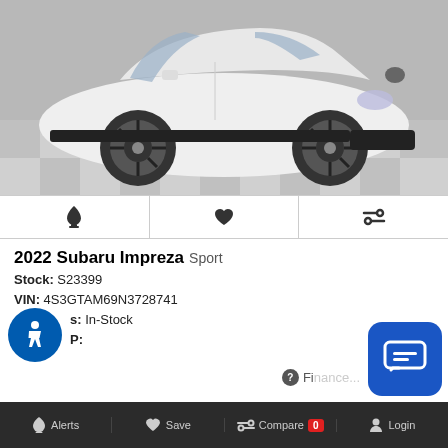[Figure (photo): White 2022 Subaru Impreza Sport hatchback shown in three-quarter front view on a checkered floor background]
Bell icon | Heart icon | Compare icon (toolbar)
2022 Subaru Impreza Sport
Stock: S23399
VIN: 4S3GTAM69N3728741
Status: In-Stock
MSRP:
? Finance...
Alerts   Save   Compare 0   Login